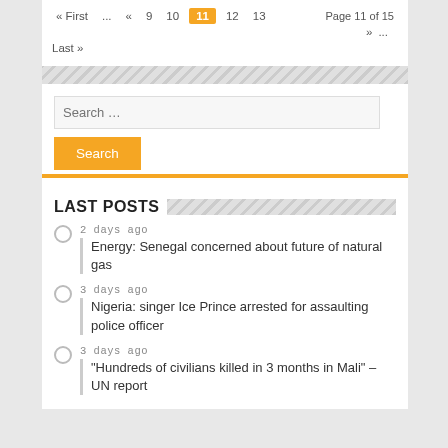« First  ...  «  9  10  11  12  13  Page 11 of 15  »  ...  Last »
[Figure (screenshot): Search input field with placeholder 'Search ...' and orange Search button below]
LAST POSTS
2 days ago — Energy: Senegal concerned about future of natural gas
3 days ago — Nigeria: singer Ice Prince arrested for assaulting police officer
3 days ago — "Hundreds of civilians killed in 3 months in Mali" – UN report